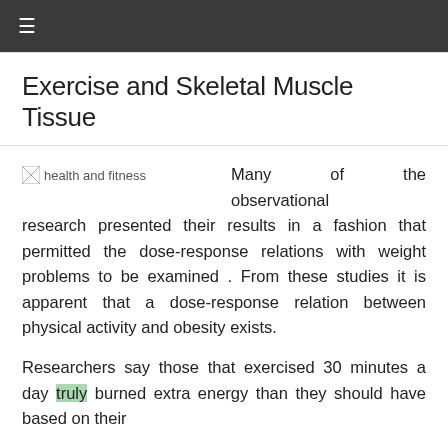≡
Exercise and Skeletal Muscle Tissue
[Figure (photo): Broken image placeholder labeled 'health and fitness']
Many of the observational research presented their results in a fashion that permitted the dose-response relations with weight problems to be examined . From these studies it is apparent that a dose-response relation between physical activity and obesity exists.
Researchers say those that exercised 30 minutes a day truly burned extra energy than they should have based on their